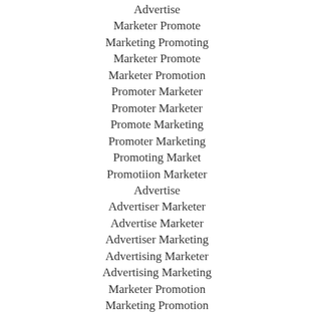Advertise
Marketer Promote
Marketing Promoting
Marketer Promote
Marketer Promotion
Promoter Marketer
Promoter Marketer
Promote Marketing
Promoter Marketing
Promoting Market
Promotiion Marketer
Advertise
Advertiser Marketer
Advertise Marketer
Advertiser Marketing
Advertising Marketer
Advertising Marketing
Marketer Promotion
Marketing Promotion
Marketer Promote
Digital Marketers Promote
Promote Marketing